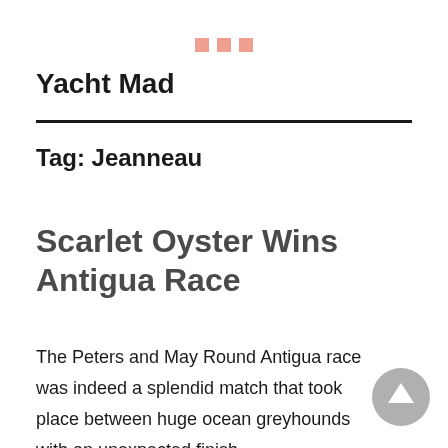Yacht Mad
Tag: Jeanneau
Scarlet Oyster Wins Antigua Race
The Peters and May Round Antigua race was indeed a splendid match that took place between huge ocean greyhounds with an unexpected finish.